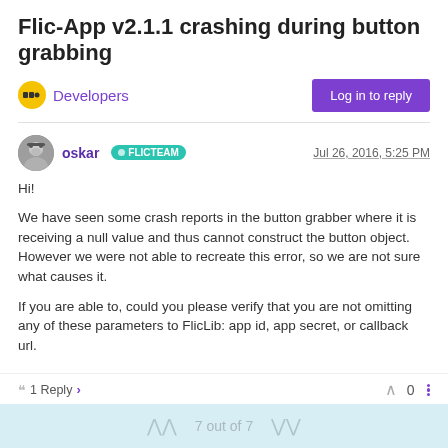Flic-App v2.1.1 crashing during button grabbing
Developers
Log in to reply
oskar FLICTEAM   Jul 26, 2016, 5:25 PM
Hi!
We have seen some crash reports in the button grabber where it is receiving a null value and thus cannot construct the button object. However we were not able to recreate this error, so we are not sure what causes it.
If you are able to, could you please verify that you are not omitting any of these parameters to FlicLib: app id, app secret, or callback url.
1 Reply >   0
7 out of 7